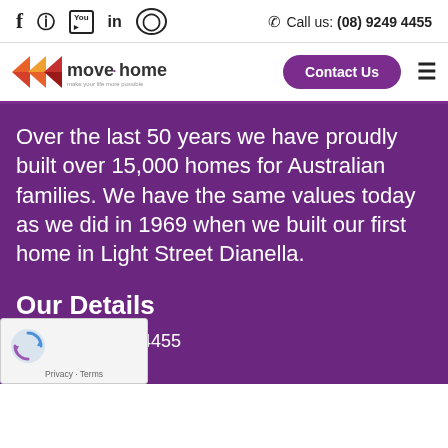f  ⊕  You  in  ○   Call us: (08) 9249 4455
[Figure (logo): Move Homes logo with colorful arrow shapes and text 'move·homes']
Contact Us
Over the last 50 years we have proudly built over 15,000 homes for Australian families. We have the same values today as we did in 1969 when we built our first home in Light Street Dianella.
Our Details
9249 4455
Address:
[Figure (other): reCAPTCHA widget with circular arrow logo, Privacy and Terms links]